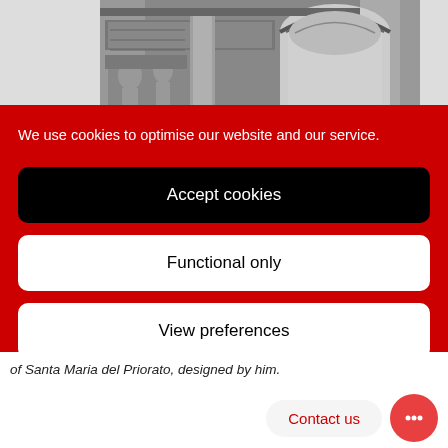[Figure (photo): Black and white engraving/etching of an ornate classical architectural facade with arches, relief carvings, and decorative elements]
We use cookies to optimise our website and our service.
Accept cookies
Functional only
View preferences
of Santa Maria del Priorato, designed by him.
Contact us